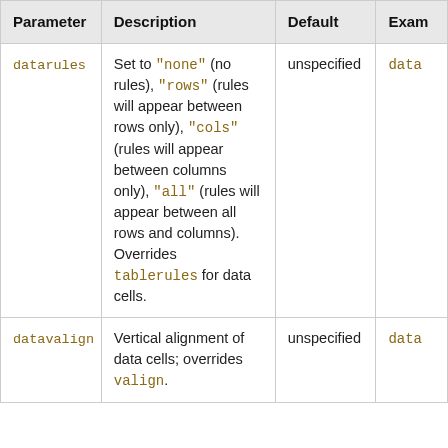| Parameter | Description | Default | Exam |
| --- | --- | --- | --- |
| datarules | Set to "none" (no rules), "rows" (rules will appear between rows only), "cols" (rules will appear between columns only), "all" (rules will appear between all rows and columns). Overrides tablerules for data cells. | unspecified | data |
| datavalign | Vertical alignment of data cells; overrides valign. | unspecified | data |